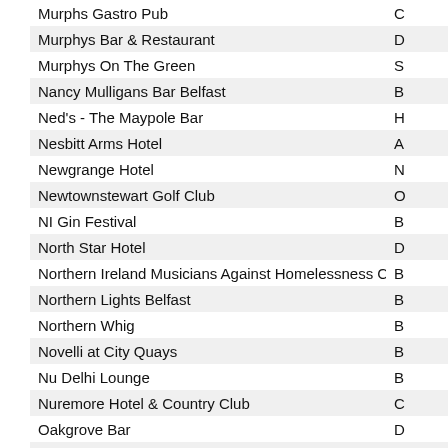| Name | Location |
| --- | --- |
| Murphs Gastro Pub | C |
| Murphys Bar & Restaurant | D |
| Murphys On The Green | S |
| Nancy Mulligans Bar Belfast | B |
| Ned's - The Maypole Bar | H |
| Nesbitt Arms Hotel | A |
| Newgrange Hotel | N |
| Newtownstewart Golf Club | O |
| NI Gin Festival | B |
| North Star Hotel | D |
| Northern Ireland Musicians Against Homelessness Campaign | B |
| Northern Lights Belfast | B |
| Northern Whig | B |
| Novelli at City Quays | B |
| Nu Delhi Lounge | B |
| Nuremore Hotel & Country Club | C |
| Oakgrove Bar | D |
| Oasis Bar, Grill & Nightclub | B |